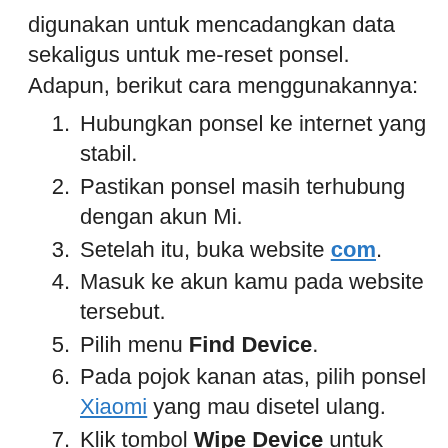digunakan untuk mencadangkan data sekaligus untuk me-reset ponsel. Adapun, berikut cara menggunakannya:
Hubungkan ponsel ke internet yang stabil.
Pastikan ponsel masih terhubung dengan akun Mi.
Setelah itu, buka website com.
Masuk ke akun kamu pada website tersebut.
Pilih menu Find Device.
Pada pojok kanan atas, pilih ponsel Xiaomi yang mau disetel ulang.
Klik tombol Wipe Device untuk menghapus data.
Konfirmasi dengan klik Wipe sekali lagi.